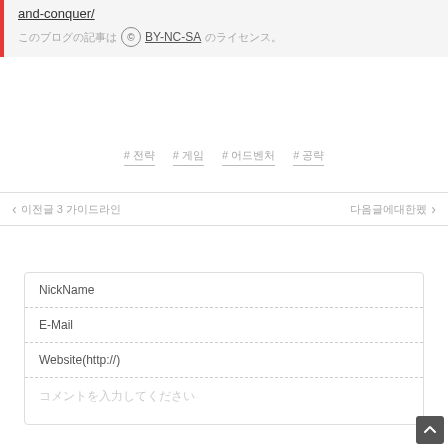and-conquer/
© BY-NC-SA (license text in Japanese)
# 전략 # 게임 # 어드벤처 # 공략
← 이전글 3 가이드라인 ... 다음글 →
NickName
E-Mail
Website(http://)
(placeholder text in Japanese)